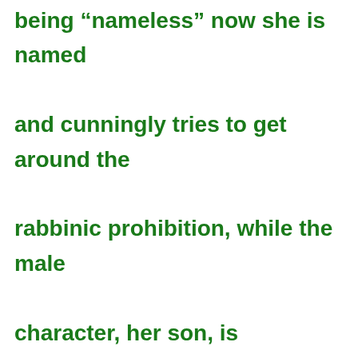being “nameless” now she is named and cunningly tries to get around the rabbinic prohibition, while the male character, her son, is unnamed and plays no role in the matter in dispute.” – commentary on bShabbat (16b – 14b) in doctoral thesis entitled “Queen Alexandra: The Anamoly of a Sovereign